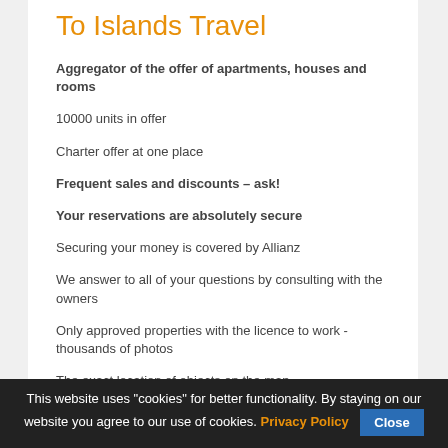To Islands Travel
Aggregator of the offer of apartments, houses and rooms
10000 units in offer
Charter offer at one place
Frequent sales and discounts – ask!
Your reservations are absolutely secure
Securing your money is covered by Allianz
We answer to all of your questions by consulting with the owners
Only approved properties with the licence to work - thousands of photos
The exact location of objects on the map
This website uses "cookies" for better functionality. By staying on our website you agree to our use of cookies. Privacy Policy  Close